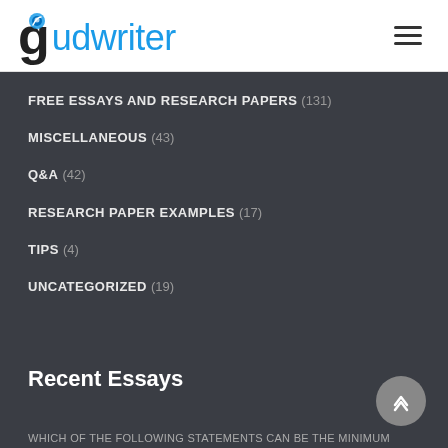[Figure (logo): Gudwriter logo with stylized G and blue 'udwriter' text, with a small leaf/graduation cap icon]
FREE ESSAYS AND RESEARCH PAPERS (131)
MISCELLANEOUS (43)
Q&A (42)
RESEARCH PAPER EXAMPLES (17)
TIPS (4)
UNCATEGORIZED (19)
Recent Essays
WHICH OF THE FOLLOWING STATEMENTS CAN BE THE MINIMUM